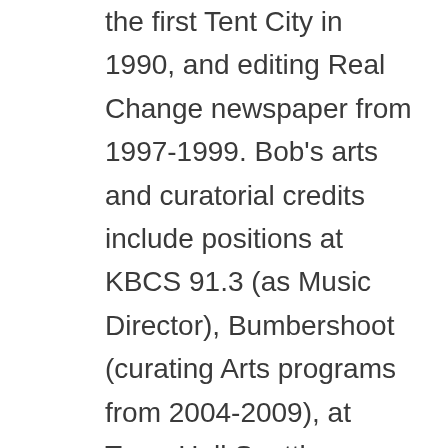the first Tent City in 1990, and editing Real Change newspaper from 1997-1999. Bob's arts and curatorial credits include positions at KBCS 91.3 (as Music Director), Bumbershoot (curating Arts programs from 2004-2009), at Town Hall Seattle (Program Director in 2011-12), as as founder of the Seattle Poetry Festival. Most recently Bob founded the non-profit The Common Acre, which has produced “Bilocal: Seattle-New Orleans” and the “Art+Agriculture” series. He also runs Urban Bee Company, which maintains hives in community gardens